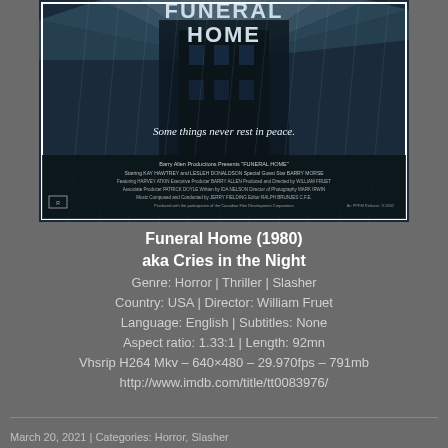[Figure (photo): Movie poster for Funeral Home (1980). Dark blue-tinted horror movie poster showing ominous building with radiating light beams and figures in the rain. Text reads 'FUNERAL HOME' at top, tagline 'Some things never rest in peace.' in middle, with full cast and crew credits at bottom including KAY HAWTREY and LESLEH DONALDSON.]
Funeral Home (1980)
aka Cries in the Night
Genre: Horror | Thriller | Slasher
Country: USA | Director: William Fruet
Language: English | Subtitles: None
Aspect ratio: 1.33:1 | Length: 92mn
Vhsrip H264 Mkv – 640×480 – 29.970fps – 791mb
http://www.imdb.com/title/tt0083976/
March 20, 2021 | Categories: Horror, Slasher